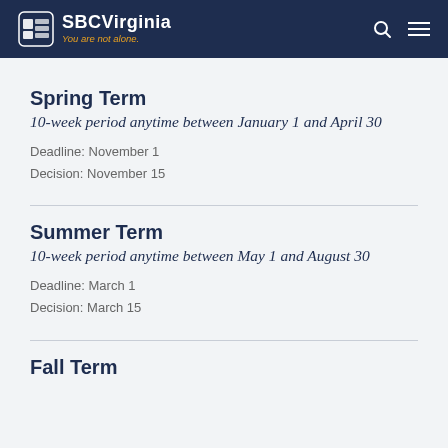SBCVirginia — You are not alone.
Spring Term
10-week period anytime between January 1 and April 30
Deadline: November 1
Decision: November 15
Summer Term
10-week period anytime between May 1 and August 30
Deadline: March 1
Decision: March 15
Fall Term